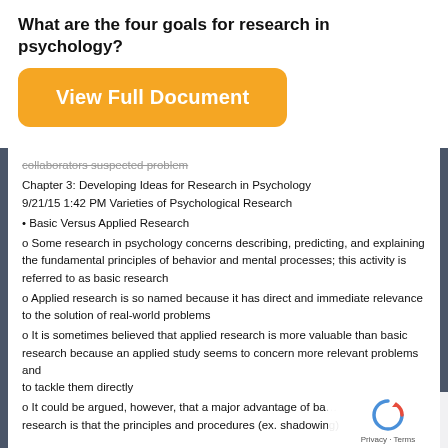What are the four goals for research in psychology?
[Figure (other): Orange rounded button labeled 'View Full Document']
collaborators suspected  problem
Chapter 3: Developing Ideas for Research in  Psychology
9/21/15 1:42 PM Varieties of Psychological Research
• Basic Versus Applied Research
o Some research in psychology concerns describing, predicting, and explaining the  fundamental principles of behavior and mental processes; this activity is referred to as basic research
o Applied research is so named because it has direct and immediate relevance to the  solution of real-world problems
o It is sometimes believed that applied research is more valuable than basic research because an applied study seems to concern more relevant problems and to tackle them directly
o It could be argued, however, that a major advantage of basic research is that the  principles and procedures (ex. shadowing)